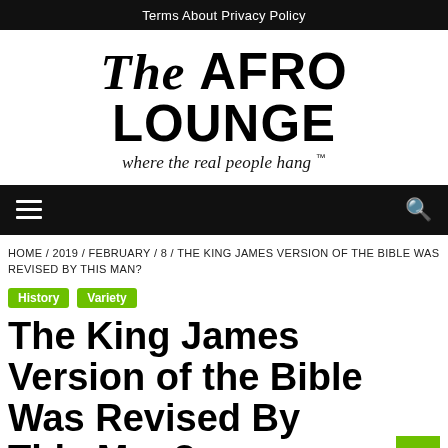Terms  About  Privacy Policy
[Figure (logo): The Afro Lounge logo — 'THE AFRO LOUNGE' in bold/italic serif and sans-serif, tagline 'where the real people hang ™']
≡  🔍 (navigation menu bar)
HOME / 2019 / FEBRUARY / 8 / THE KING JAMES VERSION OF THE BIBLE WAS REVISED BY THIS MAN?
History
Variety
The King James Version of the Bible Was Revised By This Man?